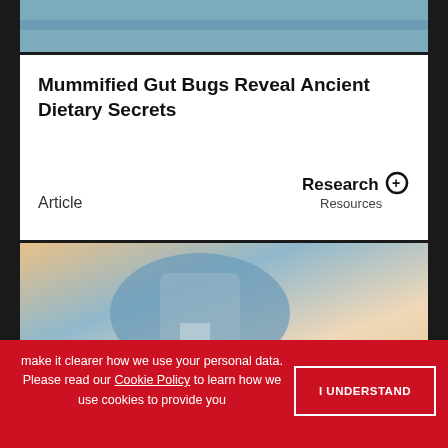[Figure (photo): Top partial photo of water or stone surface in blue-grey tones]
Mummified Gut Bugs Reveal Ancient Dietary Secrets
Article
[Figure (logo): Research+ Resources logo]
[Figure (photo): Close-up photo of a person wearing blue gloves handling laboratory materials]
make it clearer how we use your personal data.
Please read our Cookie Policy to learn how we use cookies to provide you
I UNDERSTAND
[Figure (infographic): ThermoFisher Scientific advertisement banner. Text: Assistance available through our Cancer Research Foundation. Apply now button.]